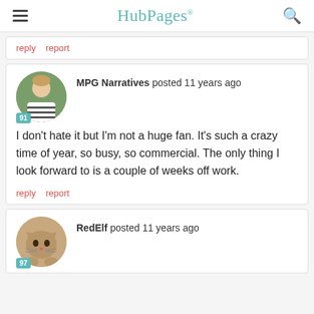HubPages
reply   report
MPG Narratives posted 11 years ago
I don't hate it but I'm not a huge fan. It's such a crazy time of year, so busy, so commercial. The only thing I look forward to is a couple of weeks off work.
reply   report
RedElf posted 11 years ago